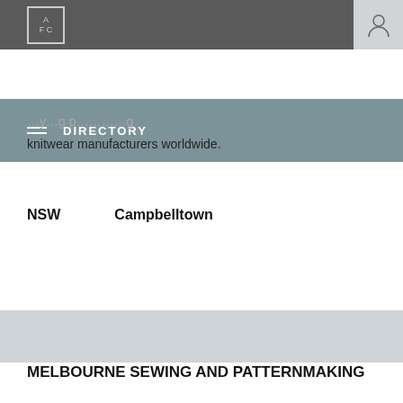AFC — Directory
knitwear manufacturers worldwide.
NSW    Campbelltown
MELBOURNE SEWING AND PATTERNMAKING